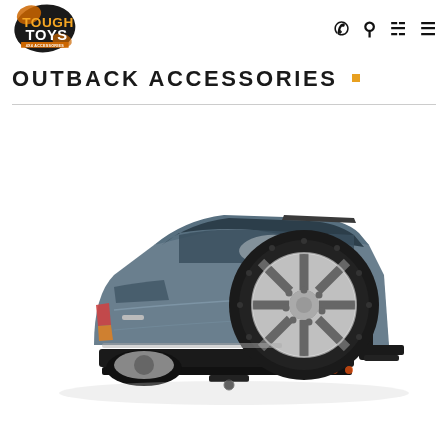Tough Toys – navigation header with logo and icons
OUTBACK ACCESSORIES .
[Figure (photo): Rear view of a dark grey SUV (Mitsubishi Pajero) fitted with Outback Accessories rear bar and spare tyre carrier mounting an alloy wheel with tyre, photographed on white background.]